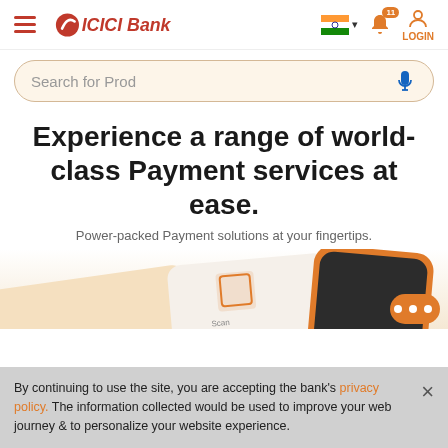[Figure (screenshot): ICICI Bank website header with hamburger menu, ICICI Bank logo, Indian flag with dropdown arrow, notification bell with badge showing 11, and Login button]
[Figure (screenshot): Search bar with placeholder text 'Search for Prod' and microphone icon on beige background]
Experience a range of world-class Payment services at ease.
Power-packed Payment solutions at your fingertips.
[Figure (illustration): Partial illustration of payment cards including an orange card with QR code and a dark phone, and orange chat bubble icon]
By continuing to use the site, you are accepting the bank's privacy policy. The information collected would be used to improve your web journey & to personalize your website experience.